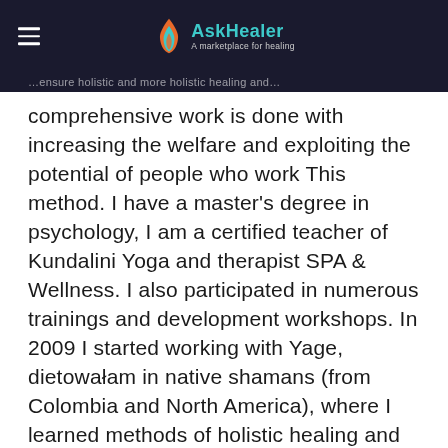AskHealer — A marketplace for healing
comprehensive work is done with increasing the welfare and exploiting the potential of people who work This method. I have a master's degree in psychology, I am a certified teacher of Kundalini Yoga and therapist SPA & Wellness. I also participated in numerous trainings and development workshops. In 2009 I started working with Yage, dietowałam in native shamans (from Colombia and North America), where I learned methods of holistic healing and working with holy plants of power. After returning from South America, at the beginning of 2010 I started the adventure with yoga. My first meeting was the Iyengar